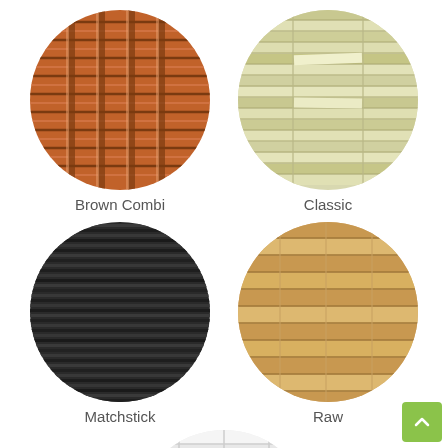[Figure (illustration): Circular swatch of Brown Combi bamboo blind material — warm orange-brown tones with woven grid pattern]
[Figure (illustration): Circular swatch of Classic bamboo blind material — natural off-white/pale green horizontal slats]
Brown Combi
Classic
[Figure (illustration): Circular swatch of Matchstick bamboo blind material — dark charcoal/black thin horizontal matchstick slats]
[Figure (illustration): Circular swatch of Raw bamboo blind material — light natural tan/beige horizontal wide slats]
Matchstick
Raw
[Figure (illustration): Partial circular swatch at bottom of page — white/light colored woven material, partially cropped]